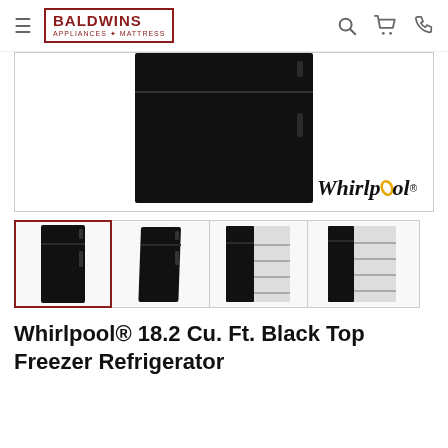Baldwins Appliances + Mattress — navigation header
[Figure (photo): Main product image: black Whirlpool top-freezer refrigerator centered in a white bordered frame, with Whirlpool brand logo in lower right corner]
[Figure (photo): Four product thumbnail images: (1) front view black refrigerator selected/active, (2) slight angle front view, (3) open interior view, (4) partial open interior view]
Whirlpool® 18.2 Cu. Ft. Black Top Freezer Refrigerator